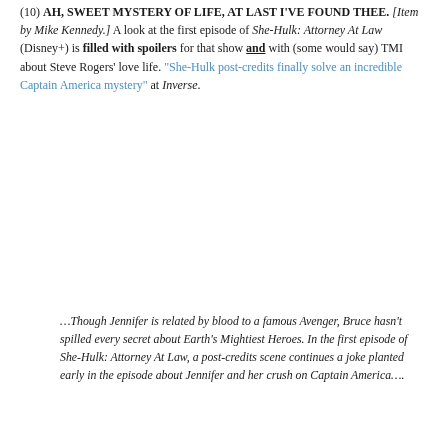(10) AH, SWEET MYSTERY OF LIFE, AT LAST I'VE FOUND THEE. [Item by Mike Kennedy.] A look at the first episode of She-Hulk: Attorney At Law (Disney+) is filled with spoilers for that show and with (some would say) TMI about Steve Rogers' love life. "She-Hulk post-credits finally solve an incredible Captain America mystery" at Inverse.
…Though Jennifer is related by blood to a famous Avenger, Bruce hasn't spilled every secret about Earth's Mightiest Heroes. In the first episode of She-Hulk: Attorney At Law, a post-credits scene continues a joke planted early in the episode about Jennifer and her crush on Captain America….
[Thanks to Michael Toman, Cat Eldridge, Mike Kennedy, Nancy Sauer, Jeffrey Smith, Olav Rokne, Martin Morse Wooster, JJ, John King Tarpinian, Andrew Porter, and Chris Barkley for some of these stories. Title credit belongs to File 770 contributing editor of the day Cat Eldridge.]